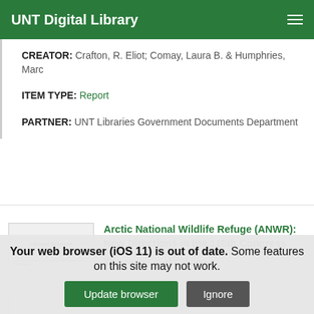UNT Digital Library
CREATOR: Crafton, R. Eliot; Comay, Laura B. & Humphries, Marc
ITEM TYPE: Report
PARTNER: UNT Libraries Government Documents Department
[Figure (screenshot): Thumbnail image of CRS Report for Congress document cover]
Arctic National Wildlife Refuge (ANWR): New Directions in the 110th Congress
This report is about new
Your web browser (iOS 11) is out of date. Some features on this site may not work.